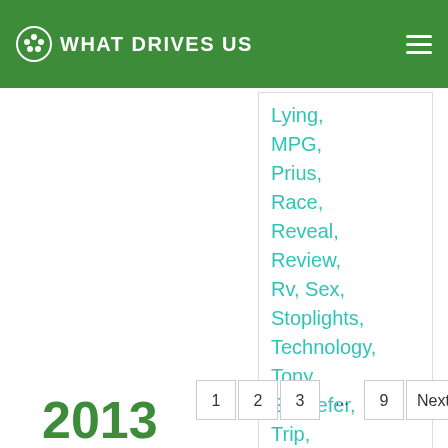WHAT DRIVES US
Lying,
MPG,
Prius,
Race,
Reveal,
Review,
Rv, Sex,
Stoplights,
Technology,
Tony Schaefer,
Trip,
Truck,
Update,
Usa,
Van
2013
1  2  3  ...  9  Next »